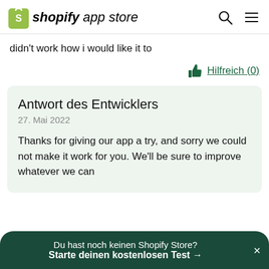shopify app store
didn't work how i would like it to
Hilfreich (0)
Antwort des Entwicklers
27. Mai 2022
Thanks for giving our app a try, and sorry we could not make it work for you. We'll be sure to improve whatever we can
Du hast noch keinen Shopify Store? Starte deinen kostenlosen Test →